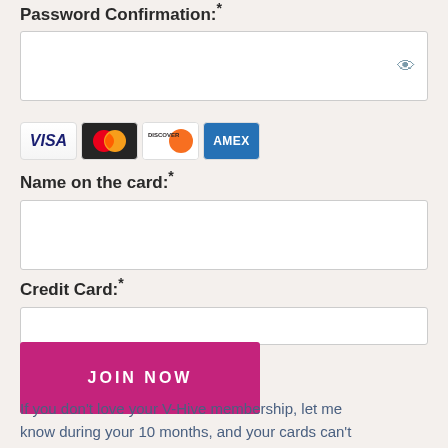Password Confirmation:*
[Figure (screenshot): Password confirmation input box with an eye icon on the right]
[Figure (other): Credit card logos: Visa, Mastercard, Discover, American Express]
Name on the card:*
[Figure (screenshot): Name on card input text box]
Credit Card:*
[Figure (screenshot): Credit card number input text box]
JOIN NOW
If you don't love your V-Hive membership, let me know during your 10 months, and your cards can't